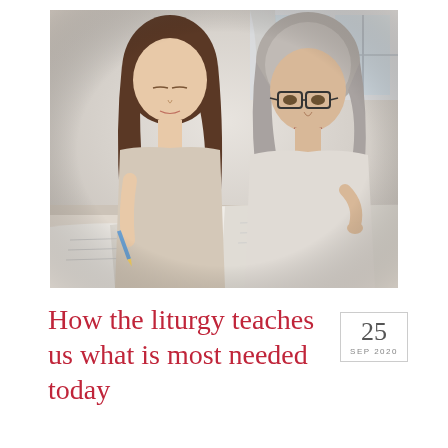[Figure (photo): An older woman with gray hair and glasses sits beside a young girl with long brown hair. Both are looking down at open books on a table, appearing to study together in a bright room.]
How the liturgy teaches us what is most needed today
25 SEP 2020